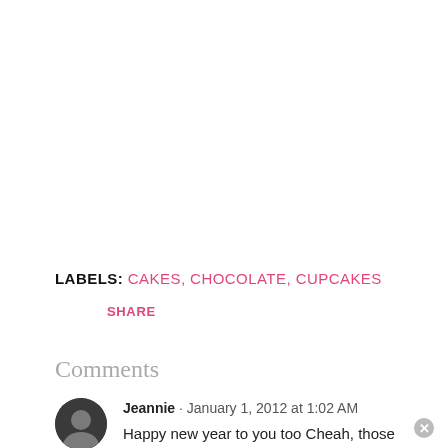LABELS: CAKES, CHOCOLATE, CUPCAKES
SHARE
Comments
Jeannie · January 1, 2012 at 1:02 AM
Happy new year to you too Cheah, those